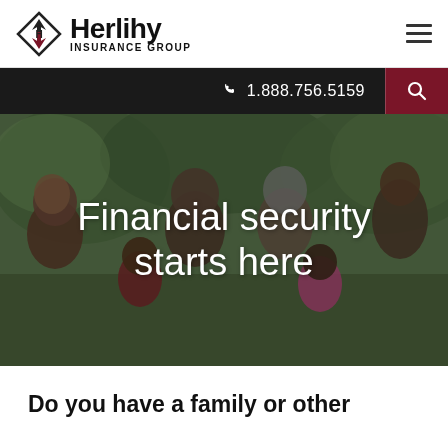[Figure (logo): Herlihy Insurance Group logo with diamond/arrow icon and company name]
1.888.756.5159
[Figure (photo): Multi-generational African American family smiling outdoors with trees in background]
Financial security starts here
Do you have a family or other